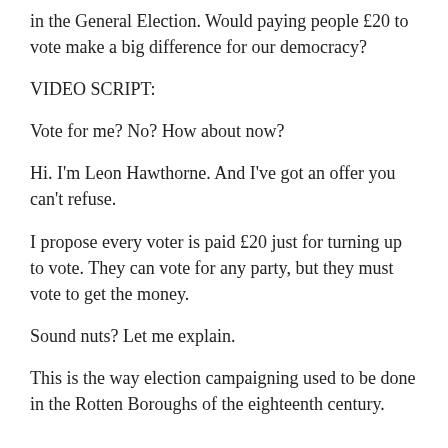in the General Election. Would paying people £20 to vote make a big difference for our democracy?
VIDEO SCRIPT:
Vote for me? No? How about now?
Hi. I'm Leon Hawthorne. And I've got an offer you can't refuse.
I propose every voter is paid £20 just for turning up to vote. They can vote for any party, but they must vote to get the money.
Sound nuts? Let me explain.
This is the way election campaigning used to be done in the Rotten Boroughs of the eighteenth century.